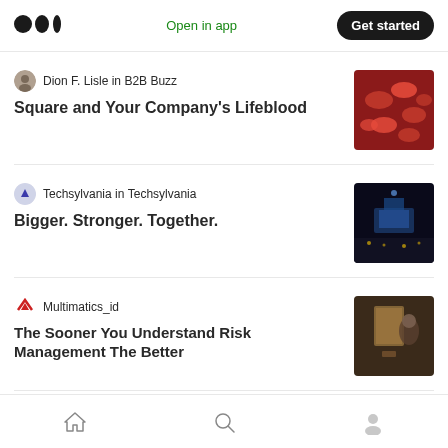Medium logo | Open in app | Get started
Dion F. Lisle in B2B Buzz
Square and Your Company's Lifeblood
[Figure (photo): Red blood cells close-up image]
Techsylvania in Techsylvania
Bigger. Stronger. Together.
[Figure (photo): Conference hall with audience and stage lighting]
Multimatics_id
The Sooner You Understand Risk Management The Better
[Figure (photo): Person holding a notebook or log book]
Unmesh Brahme
Deciphering the True Essence of
[Figure (photo): Man in dark clothing in an indoor setting]
Home | Search | Profile